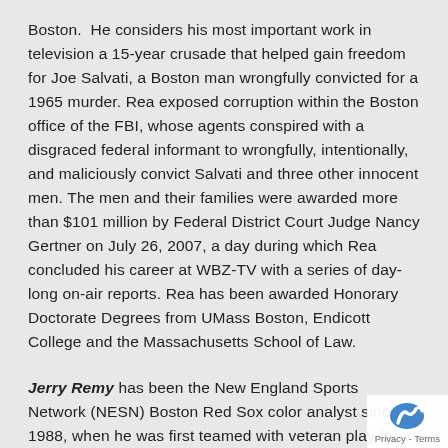Boston.  He considers his most important work in television a 15-year crusade that helped gain freedom for Joe Salvati, a Boston man wrongfully convicted for a 1965 murder. Rea exposed corruption within the Boston office of the FBI, whose agents conspired with a disgraced federal informant to wrongfully, intentionally, and maliciously convict Salvati and three other innocent men. The men and their families were awarded more than $101 million by Federal District Court Judge Nancy Gertner on July 26, 2007, a day during which Rea concluded his career at WBZ-TV with a series of day-long on-air reports. Rea has been awarded Honorary Doctorate Degrees from UMass Boston, Endicott College and the Massachusetts School of Law.
Jerry Remy has been the New England Sports Network (NESN) Boston Red Sox color analyst since 1988, when he was first teamed with veteran play-by-play announcer Ned Martin. For 15 years, Remy